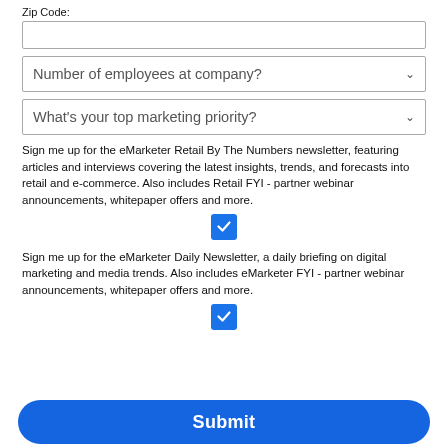Zip Code:
Number of employees at company?
What's your top marketing priority?
Sign me up for the eMarketer Retail By The Numbers newsletter, featuring articles and interviews covering the latest insights, trends, and forecasts into retail and e-commerce. Also includes Retail FYI - partner webinar announcements, whitepaper offers and more.
Sign me up for the eMarketer Daily Newsletter, a daily briefing on digital marketing and media trends. Also includes eMarketer FYI - partner webinar announcements, whitepaper offers and more.
Submit